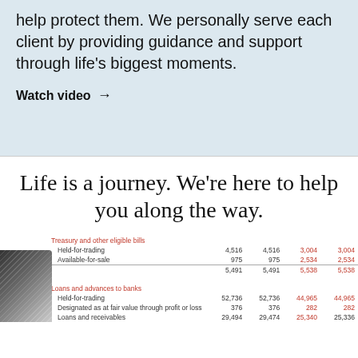help protect them. We personally serve each client by providing guidance and support through life's biggest moments.
Watch video →
Life is a journey. We're here to help you along the way.
|  |  |  |  |  |
| --- | --- | --- | --- | --- |
| Treasury and other eligible bills |  |  |  |  |
| Held-for-trading | 4,516 | 4,516 | 3,004 | 3,004 |
| Available-for-sale | 975 | 975 | 2,534 | 2,534 |
|  | 5,491 | 5,491 | 5,538 | 5,538 |
| Loans and advances to banks |  |  |  |  |
| Held-for-trading | 52,736 | 52,736 | 44,965 | 44,965 |
| Designated as at fair value through profit or loss | 376 | 376 | 282 | 282 |
| Loans and receivables | 29,494 | 29,474 | 25,340 | 25,336 |